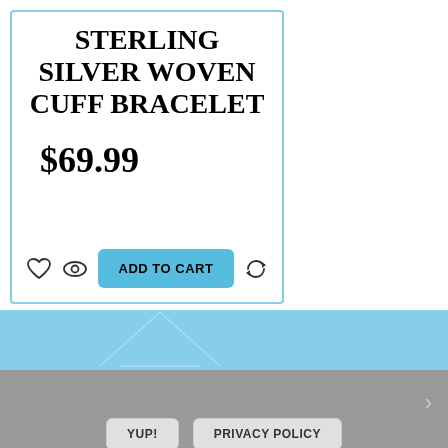STERLING SILVER WOVEN CUFF BRACELET
$69.99
ADD TO CART
We use cookies to ensure that we give you the best experience on our website. If you continue to use this site we will assume that you are happy with it.
YUP!
PRIVACY POLICY